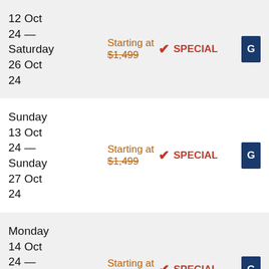12 Oct 24 — Saturday 26 Oct 24
Starting at $1,499
SPECIAL
Sunday 13 Oct 24 — Sunday 27 Oct 24
Starting at $1,499
SPECIAL
Monday 14 Oct 24 — Monday 28 Oct 24
Starting at $1,499
SPECIAL